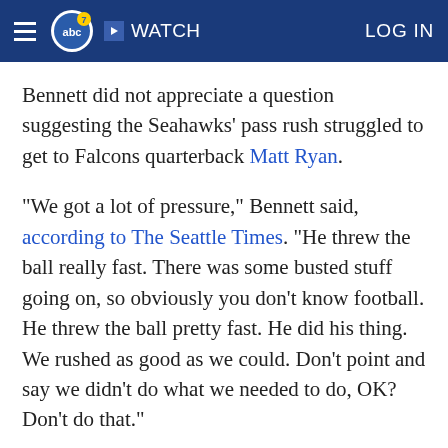ABC7 | WATCH | LOG IN
Bennett did not appreciate a question suggesting the Seahawks' pass rush struggled to get to Falcons quarterback Matt Ryan.
"We got a lot of pressure," Bennett said, according to The Seattle Times. "He threw the ball really fast. There was some busted stuff going on, so obviously you don't know football. He threw the ball pretty fast. He did his thing. We rushed as good as we could. Don't point and say we didn't do what we needed to do, OK? Don't do that."
Ryan completed 26 of 37 passes for 338 yards, three touchdowns and no interceptions. The Seahawks had